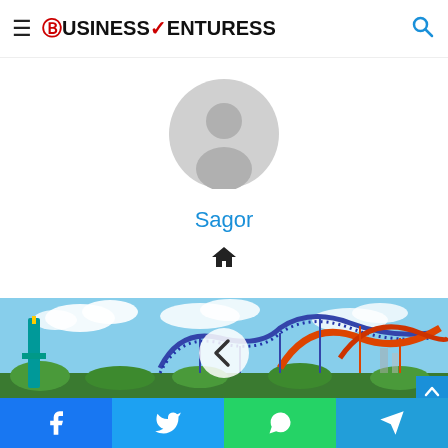BusinessVenturess
[Figure (illustration): Generic user avatar placeholder — grey circle with person silhouette]
Sagor
[Figure (illustration): Home icon symbol]
[Figure (photo): Aerial view of a roller coaster park (Busch Gardens style) with orange and blue coaster tracks against a blue sky with clouds. A white circle with a left-chevron navigation button overlaid in the center. A blue scroll-to-top button in the bottom right.]
Facebook | Twitter | WhatsApp | Telegram